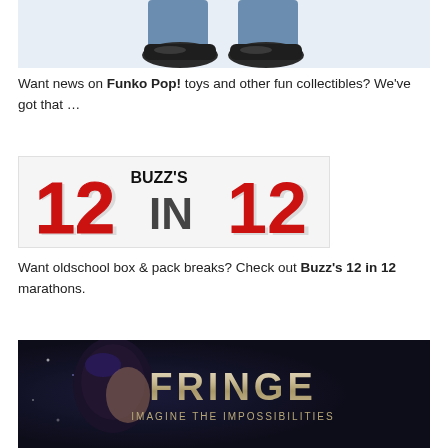[Figure (photo): Bottom portion of a Funko Pop figure showing blue jeans and black shoes against a light blue background]
Want news on Funko Pop! toys and other fun collectibles? We've got that …
[Figure (logo): Buzz's 12 in 12 logo with large red numbers 12 and 12 with dark gray IN text in between, and BUZZ'S text above in bold black]
Want oldschool box & pack breaks? Check out Buzz's 12 in 12 marathons.
[Figure (photo): Fringe TV show promotional image showing a person's face partially visible on the left and the FRINGE logo with tagline IMAGINE THE IMPOSSIBILITIES on the right against a dark background]